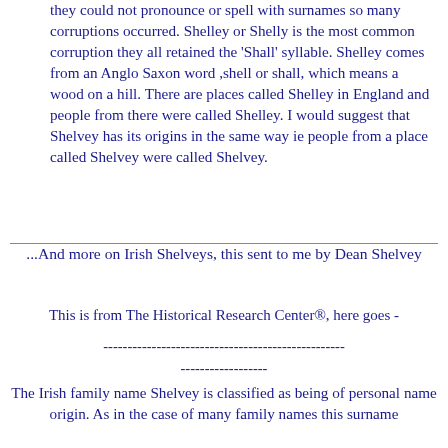they could not pronounce or spell with surnames so many corruptions occurred. Shelley or Shelly is the most common corruption they all retained the 'Shall' syllable. Shelley comes from an Anglo Saxon word ,shell or shall, which means a wood on a hill. There are places called Shelley in England and people from there were called Shelley. I would suggest that Shelvey has its origins in the same way ie people from a place called Shelvey were called Shelvey.
...And more on Irish Shelveys, this sent to me by Dean Shelvey
This is from The Historical Research Center®, here goes -
-------------------------------------------------- ------------------
The Irish family name Shelvey is classified as being of personal name origin. As in the case of many family names this surname